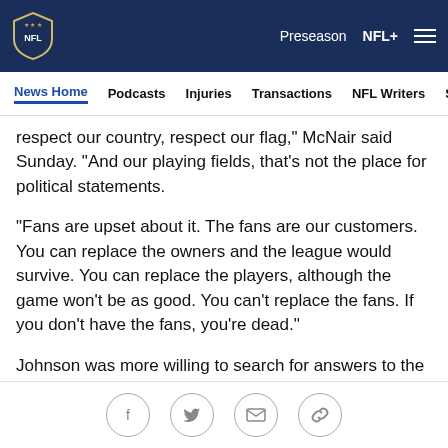NFL — Preseason  NFL+  [menu]
News Home  Podcasts  Injuries  Transactions  NFL Writers  Se…
respect our country, respect our flag," McNair said Sunday. "And our playing fields, that's not the place for political statements.
"Fans are upset about it. The fans are our customers. You can replace the owners and the league would survive. You can replace the players, although the game won't be as good. You can't replace the fans. If you don't have the fans, you're dead."
Johnson was more willing to search for answers to the anthem issue while also not wanting the players'
[social icons: Facebook, Twitter, Email, Link]